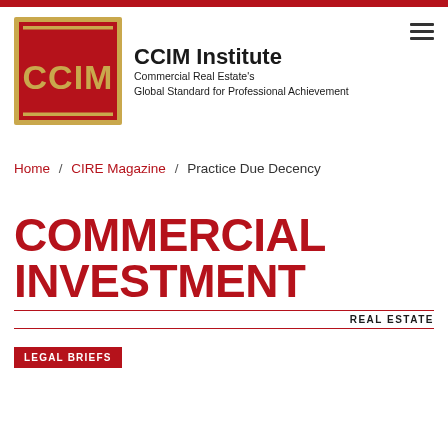[Figure (logo): CCIM Institute logo with red square background and gold border containing CCIM text, alongside institute name and tagline]
Home / CIRE Magazine / Practice Due Decency
COMMERCIAL INVESTMENT REAL ESTATE
LEGAL BRIEFS